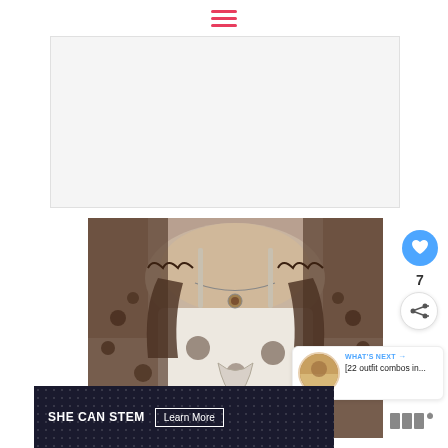[Figure (illustration): Hamburger menu icon with three horizontal red/pink lines centered at top of page]
[Figure (photo): Advertisement placeholder rectangle with light gray background]
[Figure (photo): Photo of a woman wearing a dark brown/olive lace top over a white tank top, with a pendant necklace visible. The lace fabric has floral patterns.]
[Figure (illustration): Blue circular like/heart button showing heart icon]
7
[Figure (illustration): White circular share button with share icon]
WHAT'S NEXT → [22 outfit combos in...
SHE CAN STEM   Learn More
[Figure (logo): Brand logo mark in dark gray on the right side of the bottom banner area]